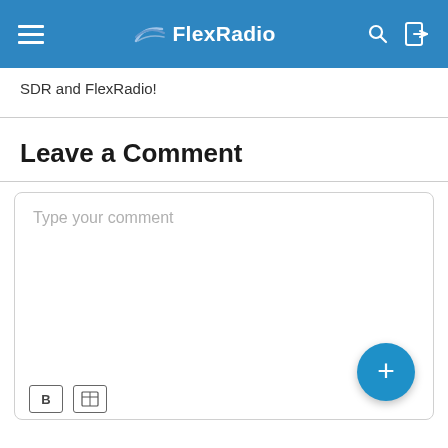FlexRadio
SDR and FlexRadio!
Leave a Comment
[Figure (screenshot): Comment text input box with placeholder text 'Type your comment' and a blue circular plus (+) button in the bottom right corner, with a toolbar at the bottom.]